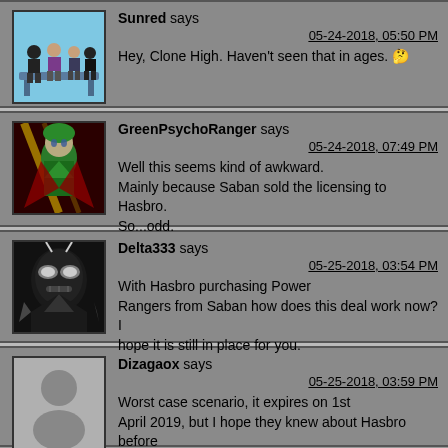Sunred says
05-24-2018, 05:50 PM
Hey, Clone High. Haven't seen that in ages. 😕
GreenPsychoRanger says
05-24-2018, 07:49 PM
Well this seems kind of awkward.
Mainly because Saban sold the licensing to Hasbro.
So...odd.
Delta333 says
05-25-2018, 03:54 PM
With Hasbro purchasing Power Rangers from Saban how does this deal work now? I hope it is still in place for you.
Dizagaox says
05-25-2018, 03:59 PM
Worst case scenario, it expires on 1st April 2019, but I hope they knew about Hasbro before